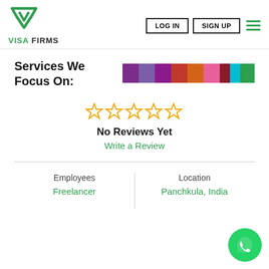[Figure (logo): Visa Firms logo: green geometric V/F shield icon above text VISA FIRMS]
LOG IN
SIGN UP
Services We Focus On:
[Figure (infographic): Horizontal color bar with segments: purple, violet, dark purple, red, orange, pink, dark red, cyan, green]
[Figure (infographic): Five empty star icons (rating 0 of 5)]
No Reviews Yet
Write a Review
Employees
Freelancer
Location
Panchkula, India
[Figure (logo): WhatsApp green circle button icon in bottom right corner]